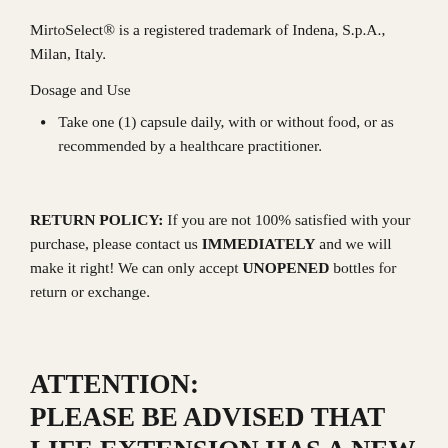MirtoSelect® is a registered trademark of Indena, S.p.A., Milan, Italy.
Dosage and Use
Take one (1) capsule daily, with or without food, or as recommended by a healthcare practitioner.
RETURN POLICY: If you are not 100% satisfied with your purchase, please contact us IMMEDIATELY and we will make it right! We can only accept UNOPENED bottles for return or exchange.
ATTENTION:
PLEASE BE ADVISED THAT LIFE EXTENSION HAS A NEW LOOK!